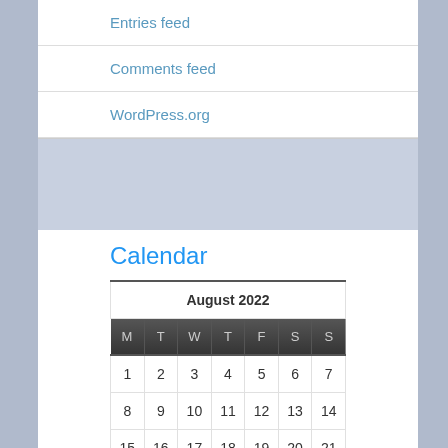Entries feed
Comments feed
WordPress.org
Calendar
| M | T | W | T | F | S | S |
| --- | --- | --- | --- | --- | --- | --- |
| 1 | 2 | 3 | 4 | 5 | 6 | 7 |
| 8 | 9 | 10 | 11 | 12 | 13 | 14 |
| 15 | 16 | 17 | 18 | 19 | 20 | 21 |
| 22 | 23 | 24 | 25 | 26 | 27 | 28 |
| 29 | 30 | 31 |  |  |  |  |
« May